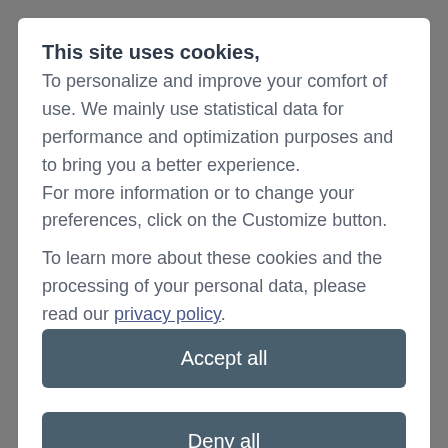This site uses cookies,
To personalize and improve your comfort of use. We mainly use statistical data for performance and optimization purposes and to bring you a better experience.
For more information or to change your preferences, click on the Customize button.
To learn more about these cookies and the processing of your personal data, please read our privacy policy.
Accept all
Deny all